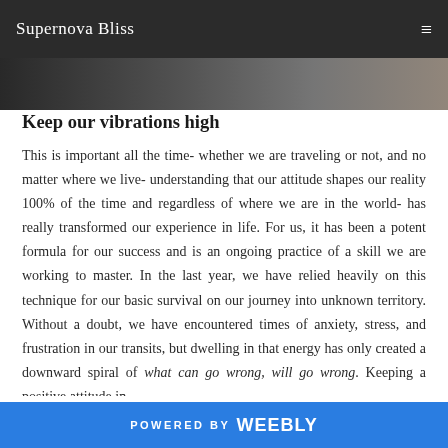Supernova Bliss
[Figure (photo): Partial decorative hero image strip, dark toned]
Keep our vibrations high
This is important all the time- whether we are traveling or not, and no matter where we live- understanding that our attitude shapes our reality 100% of the time and regardless of where we are in the world- has really transformed our experience in life. For us, it has been a potent formula for our success and is an ongoing practice of a skill we are working to master. In the last year, we have relied heavily on this technique for our basic survival on our journey into unknown territory. Without a doubt, we have encountered times of anxiety, stress, and frustration in our transits, but dwelling in that energy has only created a downward spiral of what can go wrong, will go wrong. Keeping a positive attitude in
POWERED BY Weebly